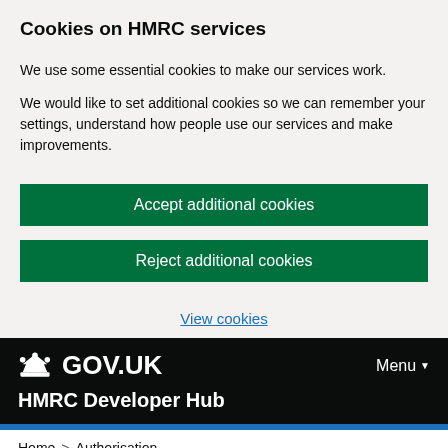Cookies on HMRC services
We use some essential cookies to make our services work.
We would like to set additional cookies so we can remember your settings, understand how people use our services and make improvements.
Accept additional cookies
Reject additional cookies
View cookies
GOV.UK  Menu
HMRC Developer Hub
Home > Authorisation